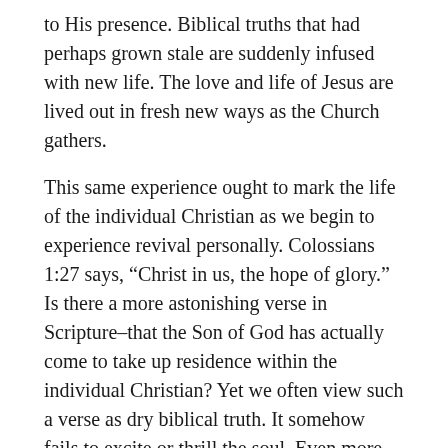to His presence. Biblical truths that had perhaps grown stale are suddenly infused with new life. The love and life of Jesus are lived out in fresh new ways as the Church gathers.
This same experience ought to mark the life of the individual Christian as we begin to experience revival personally. Colossians 1:27 says, “Christ in us, the hope of glory.” Is there a more astonishing verse in Scripture–that the Son of God has actually come to take up residence within the individual Christian? Yet we often view such a verse as dry biblical truth. It somehow fails to excite or thrill the soul. Even more telling–it fails to change the way we live.
What a difference it would make in our lives if we